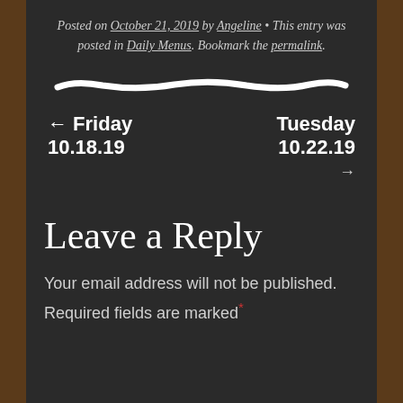Posted on October 21, 2019 by Angeline • This entry was posted in Daily Menus. Bookmark the permalink.
[Figure (illustration): Hand-drawn white chalk line across the chalkboard, wavy and thick]
← Friday 10.18.19    Tuesday 10.22.19
→
Leave a Reply
Your email address will not be published. Required fields are marked *